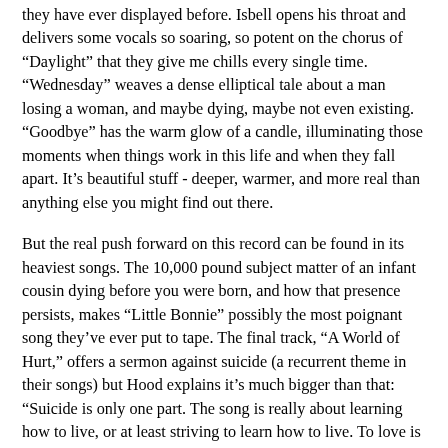they have ever displayed before. Isbell opens his throat and delivers some vocals so soaring, so potent on the chorus of “Daylight” that they give me chills every single time. “Wednesday” weaves a dense elliptical tale about a man losing a woman, and maybe dying, maybe not even existing. “Goodbye” has the warm glow of a candle, illuminating those moments when things work in this life and when they fall apart. It’s beautiful stuff - deeper, warmer, and more real than anything else you might find out there.
But the real push forward on this record can be found in its heaviest songs. The 10,000 pound subject matter of an infant cousin dying before you were born, and how that presence persists, makes “Little Bonnie” possibly the most poignant song they’ve ever put to tape. The final track, “A World of Hurt,” offers a sermon against suicide (a recurrent theme in their songs) but Hood explains it’s much bigger than that: “Suicide is only one part. The song is really about learning how to live, or at least striving to learn how to live. To love is to open your heart up to unbearable pain, but what good is life without it?” In “Space City,” Cooley offers a bittersweet tale about his grandfather following his grandmother’s death and how one learns to make it through the